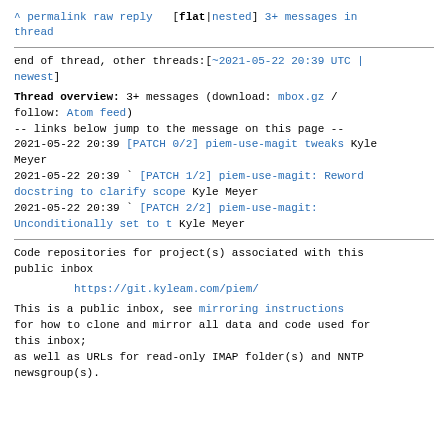^ permalink raw reply [flat|nested] 3+ messages in thread
end of thread, other threads:[~2021-05-22 20:39 UTC | newest]
Thread overview: 3+ messages (download: mbox.gz / follow: Atom feed)
-- links below jump to the message on this page --
2021-05-22 20:39 [PATCH 0/2] piem-use-magit tweaks Kyle Meyer
2021-05-22 20:39 ` [PATCH 1/2] piem-use-magit: Reword docstring to clarify scope Kyle Meyer
2021-05-22 20:39 ` [PATCH 2/2] piem-use-magit: Unconditionally set to t Kyle Meyer
Code repositories for project(s) associated with this public inbox
https://git.kyleam.com/piem/
This is a public inbox, see mirroring instructions for how to clone and mirror all data and code used for this inbox; as well as URLs for read-only IMAP folder(s) and NNTP newsgroup(s).